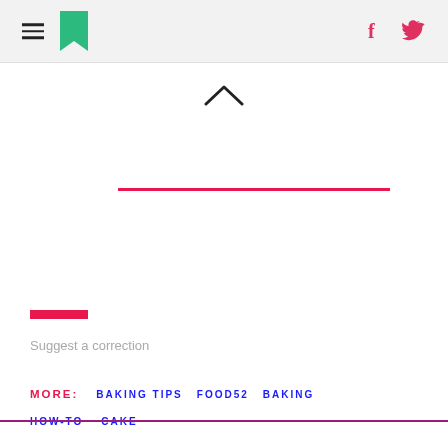HuffPost navigation header with hamburger menu, logo, Facebook and Twitter icons
Suggest a correction
MORE:  BAKING TIPS  FOOD52  BAKING  HOW-TO  CAKE